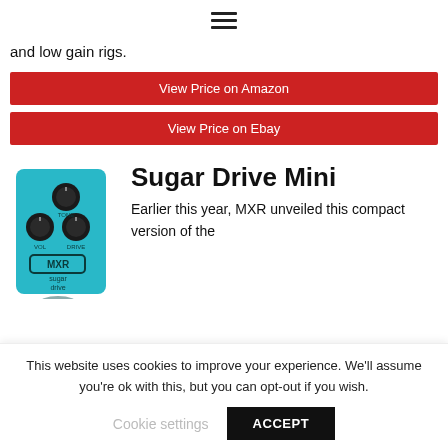≡
and low gain rigs.
View Price on Amazon
View Price on Ebay
Sugar Drive Mini
[Figure (photo): MXR Sugar Drive Mini guitar pedal in teal/blue color with three black knobs (Volume, Tone, Drive) and MXR branding]
Earlier this year, MXR unveiled this compact version of the
This website uses cookies to improve your experience. We'll assume you're ok with this, but you can opt-out if you wish.
Cookie settings
ACCEPT